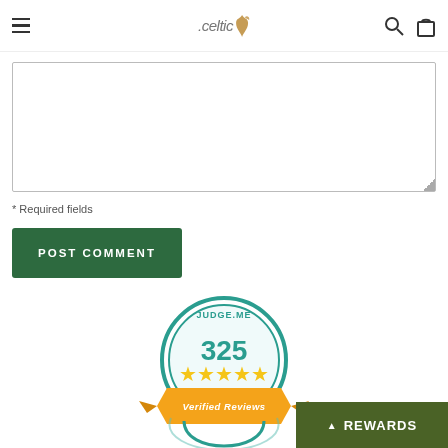celtic [logo with bird icon] [search icon] [bag icon]
[Figure (other): Text area input box with resize handle at bottom right]
* Required fields
POST COMMENT
[Figure (other): Judge.me verified reviews badge showing 325 five-star reviews]
REWARDS